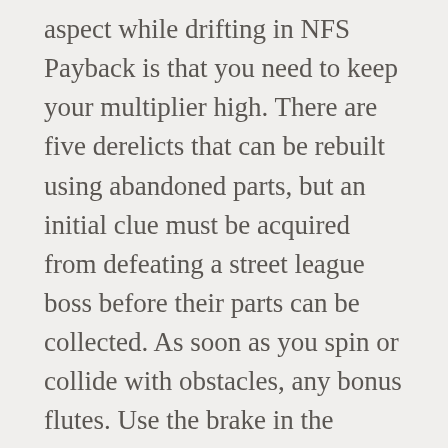aspect while drifting in NFS Payback is that you need to keep your multiplier high. There are five derelicts that can be rebuilt using abandoned parts, but an initial clue must be acquired from defeating a street league boss before their parts can be collected. As soon as you spin or collide with obstacles, any bonus flutes. Use the brake in the corner entry and give full throttle to make the tail break out. Especially at the beginning, drifting will not be easy for you, because you lack the necessary performance and suitable setups. The handling tuning options in Need for Speed Payback allow you to setup your car, so it feels just the way you want it to. We have curated this Need for Speed Payback Drifting Guide that